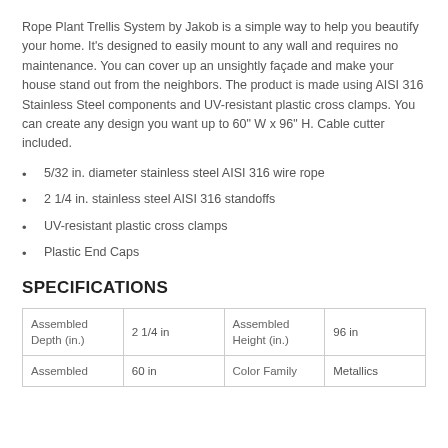Rope Plant Trellis System by Jakob is a simple way to help you beautify your home. It's designed to easily mount to any wall and requires no maintenance. You can cover up an unsightly façade and make your house stand out from the neighbors. The product is made using AISI 316 Stainless Steel components and UV-resistant plastic cross clamps. You can create any design you want up to 60" W x 96" H. Cable cutter included.
5/32 in. diameter stainless steel AISI 316 wire rope
2 1/4 in. stainless steel AISI 316 standoffs
UV-resistant plastic cross clamps
Plastic End Caps
SPECIFICATIONS
| Assembled Depth (in.) | 2 1/4 in | Assembled Height (in.) | 96 in |
| Assembled | 60 in | Color Family | Metallics |